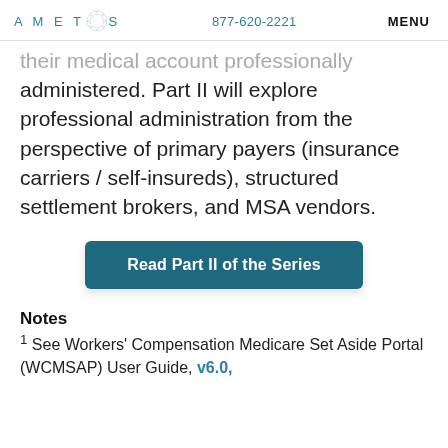AMETROS  877-620-2221  MENU
administered. Part II will explore professional administration from the perspective of primary payers (insurance carriers / self-insureds), structured settlement brokers, and MSA vendors.
[Figure (other): Button: Read Part II of the Series]
Notes
1 See Workers' Compensation Medicare Set Aside Portal (WCMSAP) User Guide, v6.0,